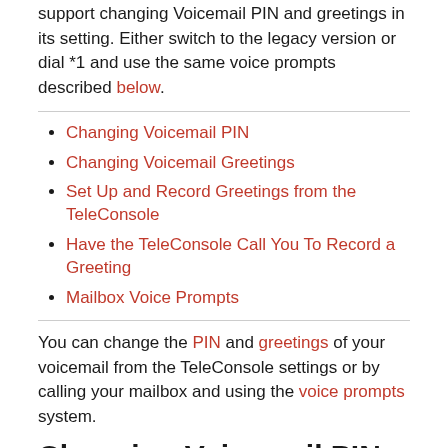support changing Voicemail PIN and greetings in its setting. Either switch to the legacy version or dial *1 and use the same voice prompts described below.
Changing Voicemail PIN
Changing Voicemail Greetings
Set Up and Record Greetings from the TeleConsole
Have the TeleConsole Call You To Record a Greeting
Mailbox Voice Prompts
You can change the PIN and greetings of your voicemail from the TeleConsole settings or by calling your mailbox and using the voice prompts system.
Changing Voicemail PIN